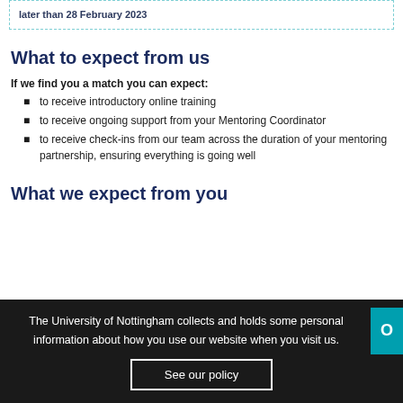later than 28 February 2023
What to expect from us
If we find you a match you can expect:
to receive introductory online training
to receive ongoing support from your Mentoring Coordinator
to receive check-ins from our team across the duration of your mentoring partnership, ensuring everything is going well
What we expect from you
The University of Nottingham collects and holds some personal information about how you use our website when you visit us.
See our policy